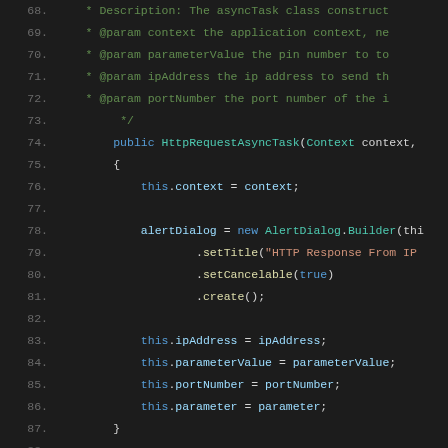[Figure (screenshot): Dark-themed code editor screenshot showing Java source code lines 68-92 of an HttpRequestAsyncTask class constructor and beginning of doInBackground method, with syntax highlighting on a dark background.]